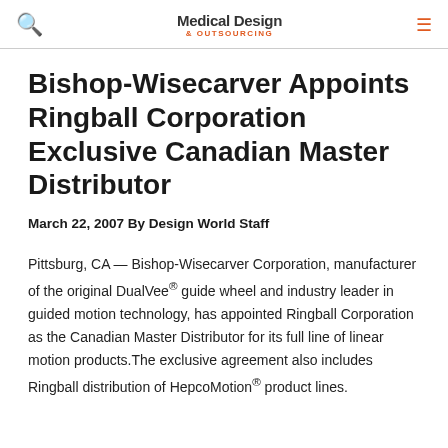Medical Design & Outsourcing
Bishop-Wisecarver Appoints Ringball Corporation Exclusive Canadian Master Distributor
March 22, 2007 By Design World Staff
Pittsburg, CA — Bishop-Wisecarver Corporation, manufacturer of the original DualVee® guide wheel and industry leader in guided motion technology, has appointed Ringball Corporation as the Canadian Master Distributor for its full line of linear motion products.The exclusive agreement also includes Ringball distribution of HepcoMotion® product lines.